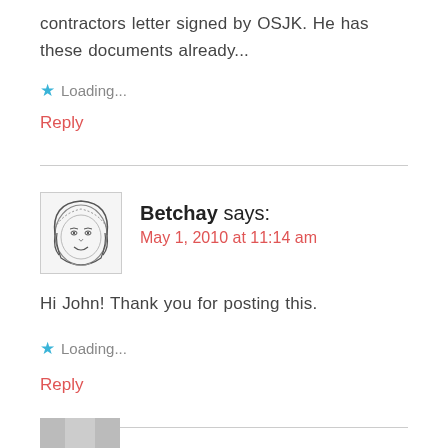contractors letter signed by OSJK. He has these documents already...
Loading...
Reply
Betchay says:
May 1, 2010 at 11:14 am
[Figure (illustration): Hand-drawn cartoon avatar of a woman with hijab, smiling face, sketch style]
Hi John! Thank you for posting this.
Loading...
Reply